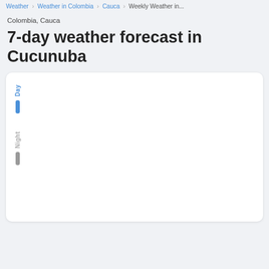Weather › Weather in Colombia › Cauca › Weekly Weather in...
Colombia, Cauca
7-day weather forecast in Cucunuba
[Figure (other): Weather forecast card showing a 7-day forecast widget with Day and Night legend indicators (blue bar for Day, gray bar for Night). The chart content is mostly cut off/loading.]